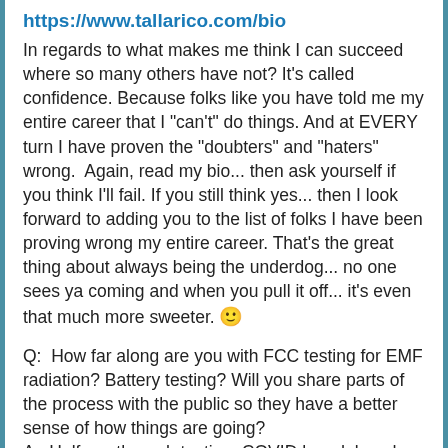https://www.tallarico.com/bio
In regards to what makes me think I can succeed where so many others have not? It's called confidence. Because folks like you have told me my entire career that I "can't" do things. And at EVERY turn I have proven the "doubters" and "haters" wrong.  Again, read my bio... then ask yourself if you think I'll fail. If you still think yes... then I look forward to adding you to the list of folks I have been proving wrong my entire career. That's the great thing about always being the underdog... no one sees ya coming and when you pull it off... it's even that much more sweeter. 🙂
Q:  How far along are you with FCC testing for EMF radiation? Battery testing? Will you share parts of the process with the public so they have a better sense of how things are going?
A:  Halfway through testing. COVID has delayed. Known fact by everyone manufacturing hardware. Easy to